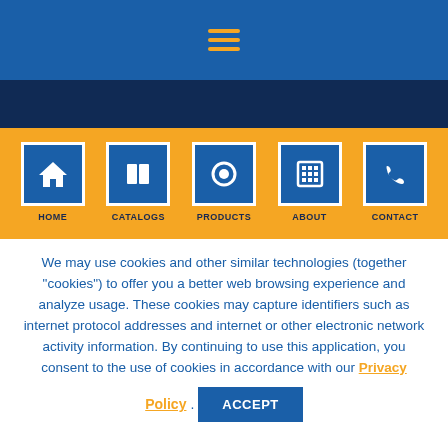[Figure (other): Hamburger menu icon with three orange horizontal lines on blue background]
[Figure (infographic): Orange navigation bar with five icon buttons: HOME, CATALOGS, PRODUCTS, ABOUT, CONTACT — each with a blue square icon]
We may use cookies and other similar technologies (together "cookies") to offer you a better web browsing experience and analyze usage. These cookies may capture identifiers such as internet protocol addresses and internet or other electronic network activity information. By continuing to use this application, you consent to the use of cookies in accordance with our Privacy Policy. ACCEPT